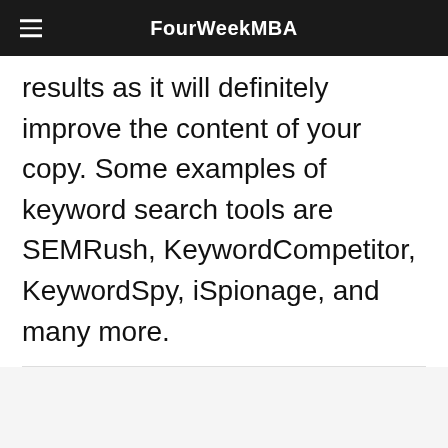FourWeekMBA
results as it will definitely improve the content of your copy. Some examples of keyword search tools are SEMRush, KeywordCompetitor, KeywordSpy, iSpionage, and many more.